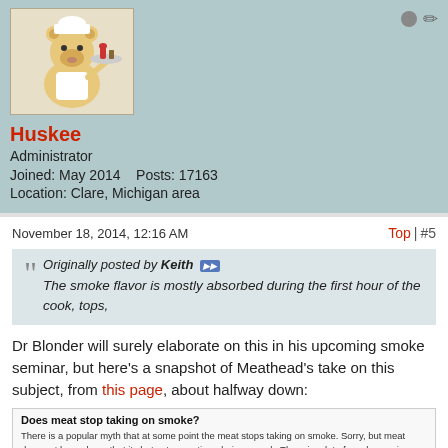[Figure (illustration): Cartoon bear chef avatar holding a serving tray with food and drink]
Huskee
Administrator
Joined: May 2014    Posts: 17163
Location: Clare, Michigan area
November 18, 2014, 12:16 AM
Top | #5
Originally posted by Keith [icon] The smoke flavor is mostly absorbed during the first hour of the cook, tops,
Dr Blonder will surely elaborate on this in his upcoming smoke seminar, but here's a snapshot of Meathead's take on this subject, from this page, about halfway down:
Does meat stop taking on smoke?
There is a popular myth that at some point the meat stops taking on smoke. Sorry, but meat does not have doors that it shuts at some time during a cook. There is a lot of smoke moving through the cooking chamber although sometimes it is not very visible. If the surface is cold or wet, more of it sticks. Usually, late in the cook, the bark gets pretty warm and dry, and by then the coals are not producing a lot of smoke. Smoke bounces off warm dry surfaces so we are fooled into thinking the meat is somehow saturated with smoke. Throw on a log and baste the meat and it will start